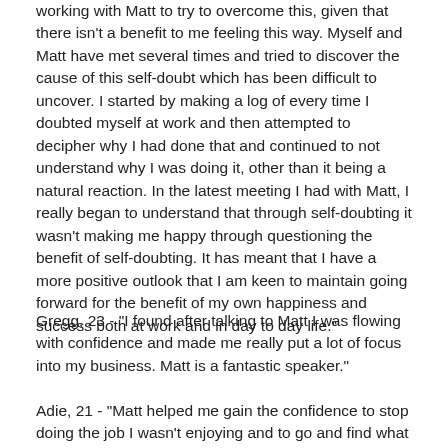working with Matt to try to overcome this, given that there isn't a benefit to me feeling this way. Myself and Matt have met several times and tried to discover the cause of this self-doubt which has been difficult to uncover. I started by making a log of every time I doubted myself at work and then attempted to decipher why I had done that and continued to not understand why I was doing it, other than it being a natural reaction. In the latest meeting I had with Matt, I really began to understand that through self-doubting it wasn't making me happy through questioning the benefit of self-doubting. It has meant that I have a more positive outlook that I am keen to maintain going forward for the benefit of my own happiness and success both at work and in day to day life."
Gregg, 23 - "I found after talking to Matt I was flowing with confidence and made me really put a lot of focus into my business. Matt is a fantastic speaker."
Adie, 21 - "Matt helped me gain the confidence to stop doing the job I wasn't enjoying and to go and find what I